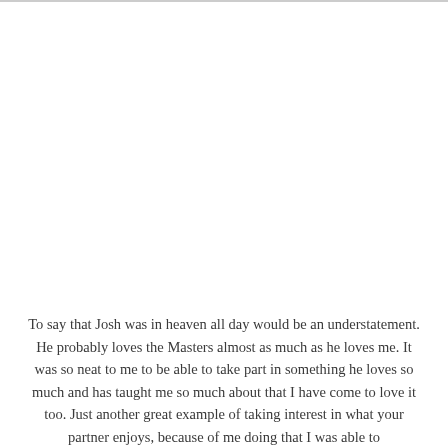To say that Josh was in heaven all day would be an understatement. He probably loves the Masters almost as much as he loves me. It was so neat to me to be able to take part in something he loves so much and has taught me so much about that I have come to love it too. Just another great example of taking interest in what your partner enjoys, because of me doing that I was able to